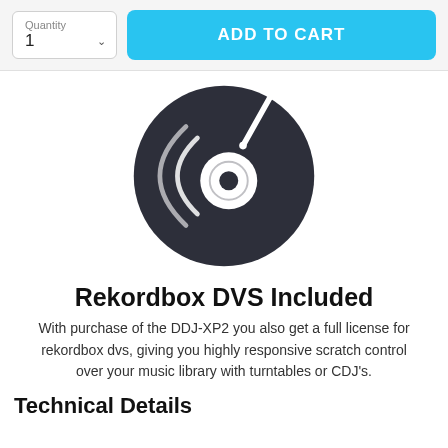Quantity 1 | ADD TO CART
[Figure (illustration): Dark circular vinyl record icon with sound wave arcs on left side and a centered label with a needle/spindle icon on top right. Dark navy/charcoal color on white background.]
Rekordbox DVS Included
With purchase of the DDJ-XP2 you also get a full license for rekordbox dvs, giving you highly responsive scratch control over your music library with turntables or CDJ's.
Technical Details